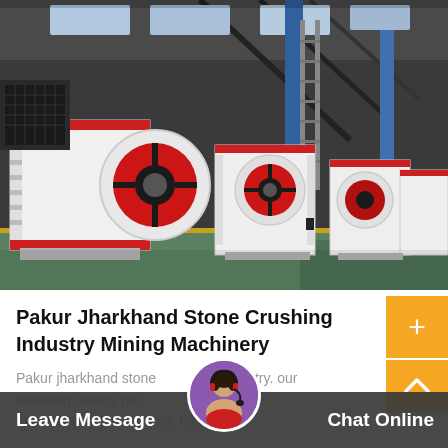[Figure (photo): Large industrial factory floor showing a row of heavy white jaw crushers and mining machinery with red flywheel accents, lined up in a warehouse with steel framework and skylights.]
Pakur Jharkhand Stone Crushing Industry Mining Machinery
Pakur jharkhand stone crushing industry. our company mainly producing and selling machines likejaw crusher, ball mill...
Leave Message
Chat Online